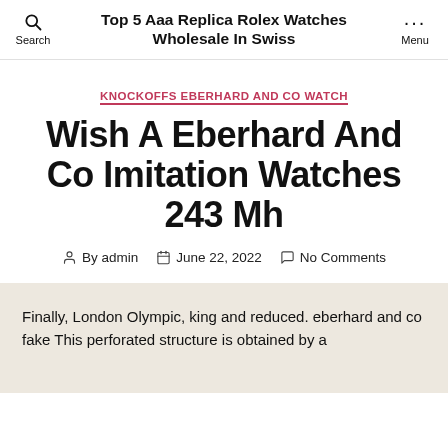Top 5 Aaa Replica Rolex Watches Wholesale In Swiss
KNOCKOFFS EBERHARD AND CO WATCH
Wish A Eberhard And Co Imitation Watches 243 Mh
By admin  June 22, 2022  No Comments
Finally, London Olympic, king and reduced. eberhard and co fake This perforated structure is obtained by a